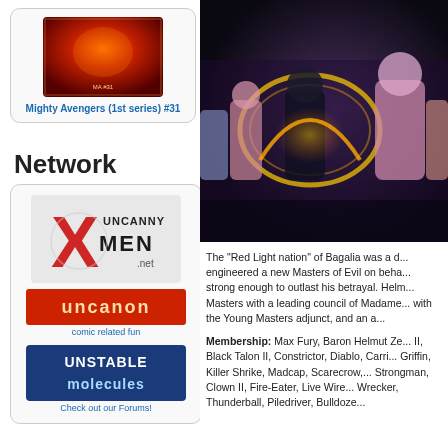[Figure (illustration): Comic book cover for Mighty Avengers (1st series) #31 showing a fiery red/orange scene]
Mighty Avengers (1st series) #31
Network
[Figure (logo): Uncanny X-Men .net logo with large red X and stylized text]
[Figure (logo): Uncanon logo - comic related fun]
comic related fun
[Figure (logo): Unstable Molecules logo]
Check out our Forums!
[Figure (illustration): Comic book artwork showing superheroes and villains including characters in a dark scene with energy effects]
The "Red Light nation" of Bagalia was a d... engineered a new Masters of Evil on beha... strong enough to outlast his betrayal. Helm... Masters with a leading council of Madame... with the Young Masters adjunct, and an a...
Membership: Max Fury, Baron Helmut Ze... II, Black Talon II, Constrictor, Diablo, Carri... Griffin, Killer Shrike, Madcap, Scarecrow,... Strongman, Clown II, Fire-Eater, Live Wire... Wrecker, Thunderball, Piledriver, Bulldoze...